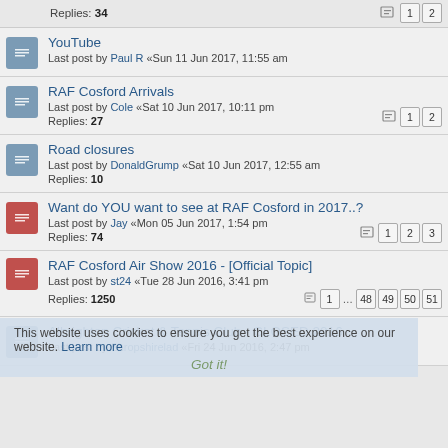Last post by CJ5 «Fri 16 Jun 2017, 5:56 pm
Replies: 34
YouTube
Last post by Paul R «Sun 11 Jun 2017, 11:55 am
RAF Cosford Arrivals
Last post by Cole «Sat 10 Jun 2017, 10:11 pm
Replies: 27
Road closures
Last post by DonaldGrump «Sat 10 Jun 2017, 12:55 am
Replies: 10
Want do YOU want to see at RAF Cosford in 2017..?
Last post by Jay «Mon 05 Jun 2017, 1:54 pm
Replies: 74
RAF Cosford Air Show 2016 - [Official Topic]
Last post by st24 «Tue 28 Jun 2016, 3:41 pm
Replies: 1250
Albrighton Cricket & Tennis Club - CLOSED 2016
Last post by Shropshirelad «Fri 24 Jun 2016, 2:47 pm